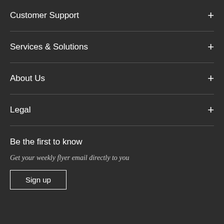Customer Support
Services & Solutions
About Us
Legal
Be the first to know
Get your weekly flyer email directly to you
Sign up